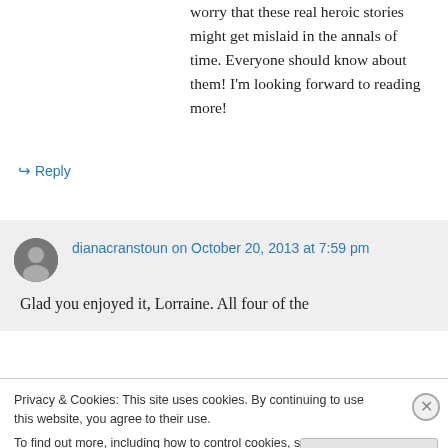worry that these real heroic stories might get mislaid in the annals of time. Everyone should know about them! I'm looking forward to reading more!
↳ Reply
dianacranstoun on October 20, 2013 at 7:59 pm
Glad you enjoyed it, Lorraine. All four of the
Privacy & Cookies: This site uses cookies. By continuing to use this website, you agree to their use.
To find out more, including how to control cookies, see here: Cookie Policy
Close and accept